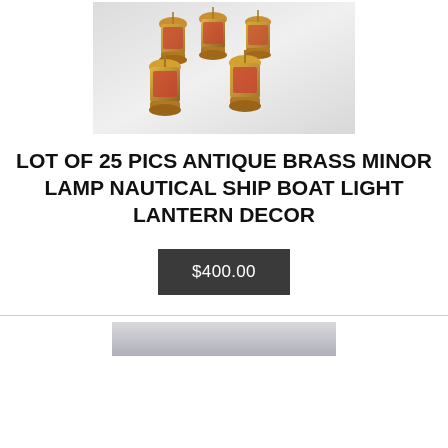[Figure (photo): Group of antique brass minor lamps/nautical lanterns clustered together on a white surface, showing gold metal bodies with red glass panels]
LOT OF 25 PICS ANTIQUE BRASS MINOR LAMP NAUTICAL SHIP BOAT LIGHT LANTERN DECOR
$400.00
[Figure (photo): Partial view of another product image at the bottom of the page, showing a light-colored background]